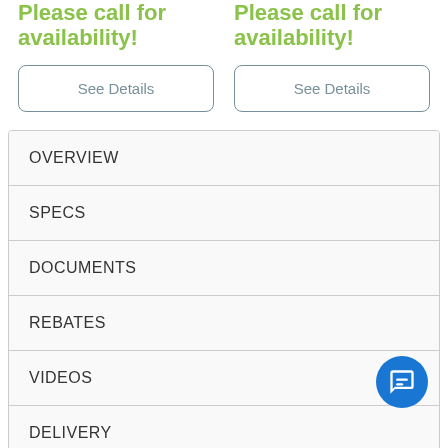Please call for availability!
See Details
Please call for availability!
See Details
OVERVIEW
SPECS
DOCUMENTS
REBATES
VIDEOS
DELIVERY